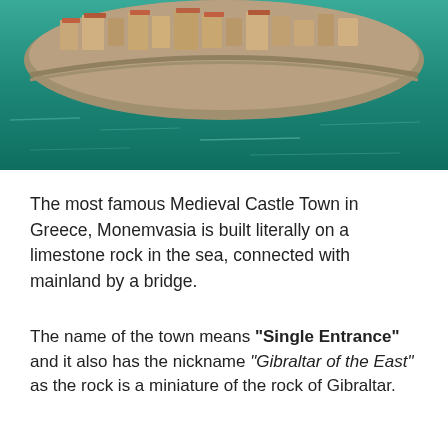[Figure (photo): Aerial view of Monemvasia, a medieval castle town built on a limestone rock surrounded by turquoise sea water, with stone buildings and fortification walls visible.]
The most famous Medieval Castle Town in Greece, Monemvasia is built literally on a limestone rock in the sea, connected with mainland by a bridge.
The name of the town means "Single Entrance" and it also has the nickname "Gibraltar of the East" as the rock is a miniature of the rock of Gibraltar.
There are signs of human activity since prehistoric times when the rock was called "Minoan Edge" and is mentioned by the ancient geographers Pausanias and Strabo.
The actual establishment of the town was in the 6th century BC by the Spartans. During the Byzantine era the town flourished and was occasionally the starting point...